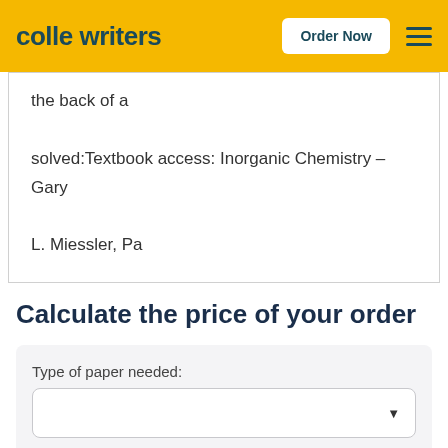colle writers  Order Now  ☰
the back of a

solved:Textbook access: Inorganic Chemistry – Gary

L. Miessler, Pa
Calculate the price of your order
Type of paper needed:
Academic level: